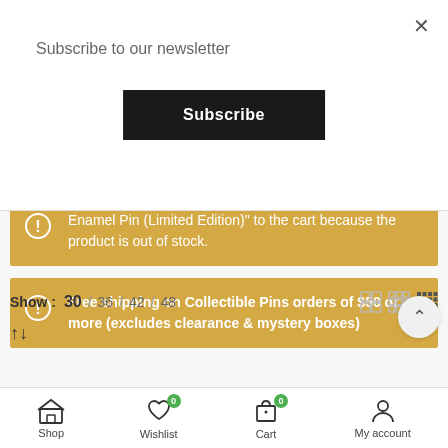Subscribe to our newsletter
Subscribe
Enamel Pin (Limited Edition)" to the cart because the product is out of stock.
Free shipping on Collectible Pins orders of $50 or more (excludes clearance & mystery boxes)
Show: 30 / 36 / 42 / 48
[Figure (screenshot): Bottom navigation bar with Shop, Wishlist (badge 0), Cart (badge 0), My account icons]